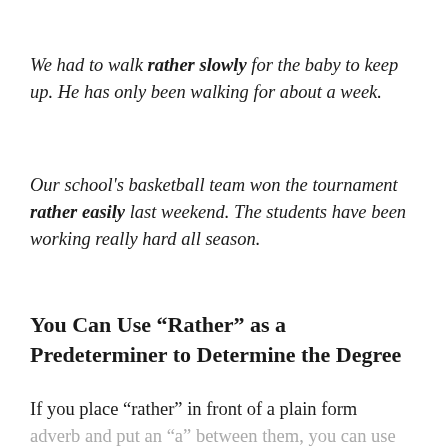We had to walk rather slowly for the baby to keep up. He has only been walking for about a week.
Our school's basketball team won the tournament rather easily last weekend. The students have been working really hard all season.
You Can Use “Rather” as a Predeterminer to Determine the Degree
If you place “rather” in front of a plain form adverb and put an “a” between them, you can use “rather” as a predeterminer to determine the degree